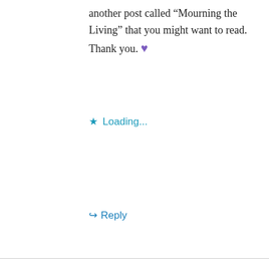another post called “Mourning the Living” that you might want to read. Thank you. 💜
★ Loading...
↪ Reply
Angie
March 19, 2019 at 9:56 pm
I am walking in your shoes and hate everything about it. So lonely at times. My husband doesn’t know me at